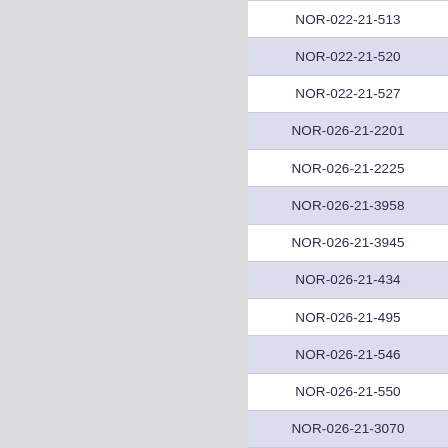| NOR-022-21-513 |
| NOR-022-21-520 |
| NOR-022-21-527 |
| NOR-026-21-2201 |
| NOR-026-21-2225 |
| NOR-026-21-3958 |
| NOR-026-21-3945 |
| NOR-026-21-434 |
| NOR-026-21-495 |
| NOR-026-21-546 |
| NOR-026-21-550 |
| NOR-026-21-3070 |